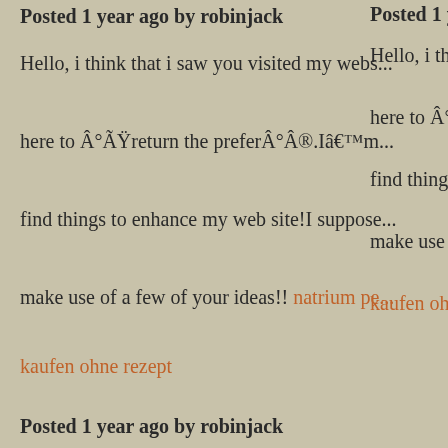Posted 1 year ago by robinjack
Hello, i think that i saw you visited my webs… here to Â°ÃŸreturn the preferÂ°Â®.Iâ€™m… find things to enhance my web site!I suppose… make use of a few of your ideas!! natrium pe… kaufen ohne rezept
Posted 1 year ago by robinjack
Hiya! I simply would like to give a huge thu… the nice info youâ€™ve got here on this post… coming again to your weblog for extra soon. dank vapes
Posted 12 months ago by robinjack
A formidable share, I just given this onto a co… was doing a bit of evaluation on this. And he…